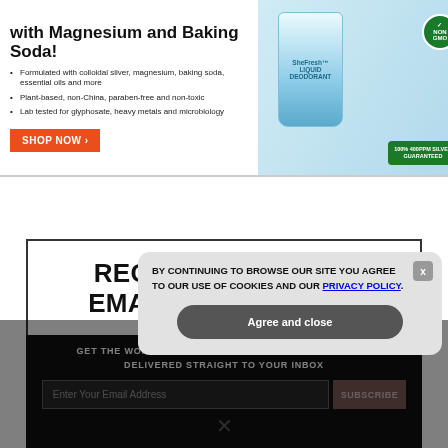[Figure (infographic): Advertisement banner for a liquid deodorant product with magnesium and baking soda. Shows product bottle image on the right with badges. Left side lists bullet points and a Shop Now button.]
Formulated with colloidal silver, magnesium, baking soda, essential oils and more
Plant-based, non-China, paraben-free and non-toxic
Lab tested for glyphosate, heavy metals and microbiology
RECEIVE OUR FREE EMAIL NEWSLETTER
GET THE WORLD'S BEST NATURAL HEALTH NEWSLETTER DELIVERED STRAIGHT TO YOUR INBOX
Enter Your Email Address
SUBSCRIBE
BY CONTINUING TO BROWSE OUR SITE YOU AGREE TO OUR USE OF COOKIES AND OUR PRIVACY POLICY.
Agree and close